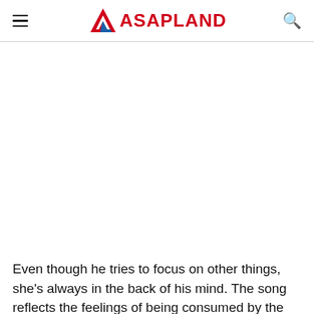ASAPLAND
[Figure (other): Blank white content area placeholder for an image]
Even though he tries to focus on other things, she’s always in the back of his mind. The song reflects the feelings of being consumed by the thought of s…